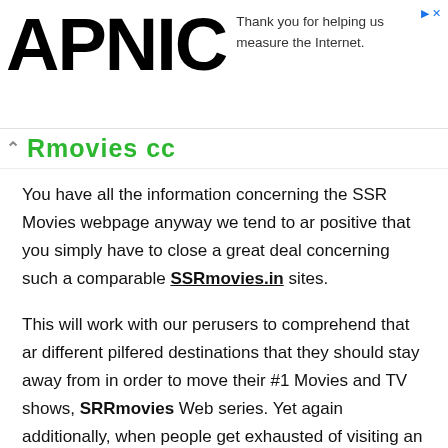APNIC — Thank you for helping us measure the Internet.
Rmovies cc
You have all the information concerning the SSR Movies webpage anyway we tend to ar positive that you simply have to close a great deal concerning such a comparable SSRmovies.in sites.
This will work with our perusers to comprehend that ar different pilfered destinations that they should stay away from in order to move their #1 Movies and TV shows, SRRmovies Web series. Yet again additionally, when people get exhausted of visiting an identical site, again and, then they need to go to another comparable site.
That is the reason we have diagrammatical here some of